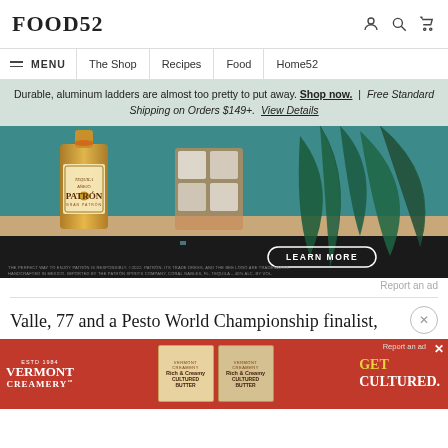FOOD52
≡ MENU | The Shop | Recipes | Food | Home52
Durable, aluminum ladders are almost too pretty to put away. Shop now. | Free Standard Shipping on Orders $149+. View Details
[Figure (photo): Patrón tequila bottle with a cocktail glass filled with ice, agave leaves in background, dark bottom band with 'LEARN MORE' button. Fine print: THE PERFECT WAY TO ENJOY PATRÓN IS RESPONSIBLY. ©2022. PATRÓN, ITS TRADE DRESS, AND THE BEE LOGO ARE TRADEMARKS. HANDCRAFTED IN MEXICO. IMPORTED BY THE PATRÓN SPIRITS COMPANY, CORAL GABLES, FL. TEQUILA – 40% ALC. BY VOL.]
Report an ad
Valle, 77 and a Pesto World Championship finalist,
[Figure (photo): Vermont Creamery advertisement banner with red background, Vermont Creamery logo, cultured butter product boxes, and 'GET CULTURED.' text]